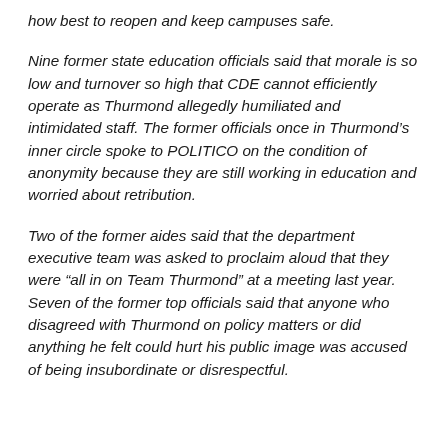how best to reopen and keep campuses safe.
Nine former state education officials said that morale is so low and turnover so high that CDE cannot efficiently operate as Thurmond allegedly humiliated and intimidated staff. The former officials once in Thurmond’s inner circle spoke to POLITICO on the condition of anonymity because they are still working in education and worried about retribution.
Two of the former aides said that the department executive team was asked to proclaim aloud that they were “all in on Team Thurmond” at a meeting last year. Seven of the former top officials said that anyone who disagreed with Thurmond on policy matters or did anything he felt could hurt his public image was accused of being insubordinate or disrespectful.